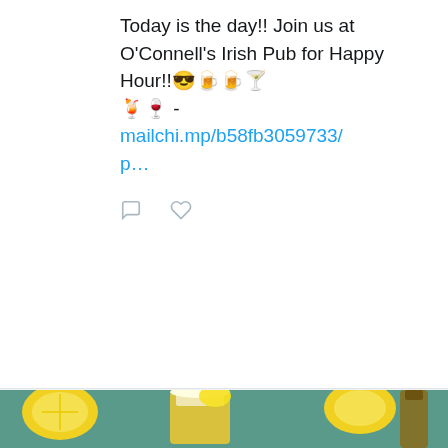Today is the day!! Join us at O'Connell's Irish Pub for Happy Hour!! 😎🍺🍺🍸🍹🍷 - mailchi.mp/b58fb3059733/p…
[Figure (screenshot): Tweet action icons: comment bubble and heart/like icon]
[Figure (photo): Twitter avatar of Timothy - circular profile photo showing a man in blue shirt holding beer mugs]
Timothy ... @.. · Aug 24
Yes, I am a purist when it comes to beer. And now I'm recommending a beer with fruit juice in it.  Yes, I am once again being a hypocrite. whatflyinmysoup.com/2022/08/24/for…
[Figure (photo): Photo of lemons and a beer glass with lemon slice, on a teal surface]